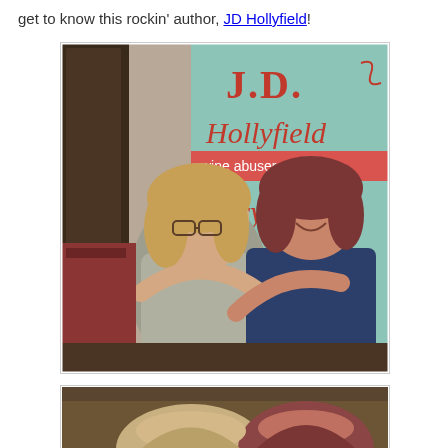get to know this rockin' author, JD Hollyfield!
[Figure (photo): Two women hugging in front of a J.D. Hollyfield author banner sign. One woman wears glasses and a grey shirt, the other wears a dark navy blazer. The banner behind them reads 'J.D. Hollyfield wine abuser literary romance'.]
[Figure (photo): Partial view of two women's heads from above, one with blonde/grey hair and another with reddish-brown hair.]